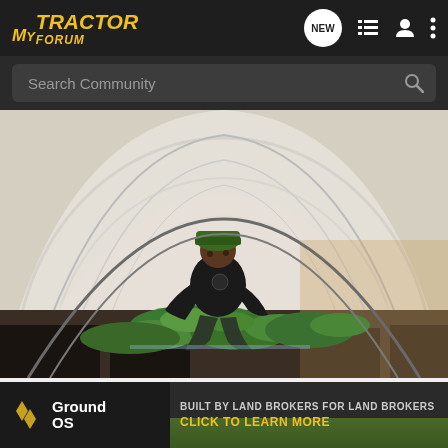MyTractor Forum navigation bar with logo, NEW button, list icon, user icon, and menu icon
Search Community
[Figure (photo): A man in a green cap and black t-shirt crouching inside a large polytunnel/greenhouse, tending to rows of green leafy crops on raised beds with black plastic mulch covering the pathways. The tunnel is arched with white plastic sheeting.]
Learn More.
[Figure (other): Up arrow button for scrolling to top]
[Figure (other): GroundOS advertisement banner - BUILT BY LAND BROKERS FOR LAND BROKERS - CLICK TO LEARN MORE]